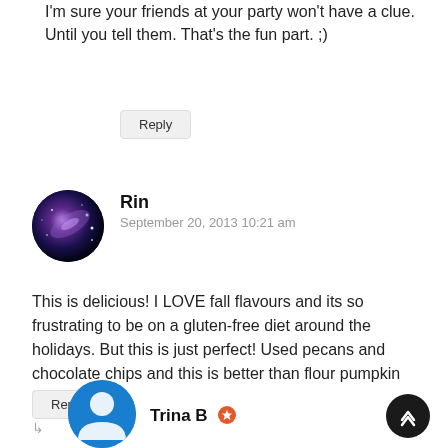I'm sure your friends at your party won't have a clue. Until you tell them. That's the fun part. ;)
Reply
Rin
September 20, 2013 10:21 am
This is delicious! I LOVE fall flavours and its so frustrating to be on a gluten-free diet around the holidays. But this is just perfect! Used pecans and chocolate chips and this is better than flour pumpkin bread!
Reply
Trina B